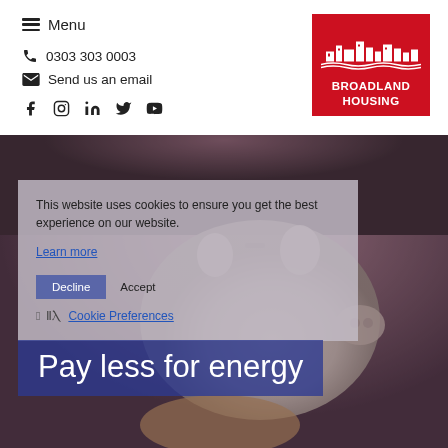Menu
0303 303 0003
Send us an email
Social media icons: Facebook, Instagram, LinkedIn, Twitter, YouTube
[Figure (logo): Broadland Housing logo — red rectangle with white building illustration and text BROADLAND HOUSING]
[Figure (photo): Blurred background photo of a hand holding a white piggy bank]
This website uses cookies to ensure you get the best experience on our website.
Learn more
Pay less for energy
Decline
Accept
Cookie Preferences